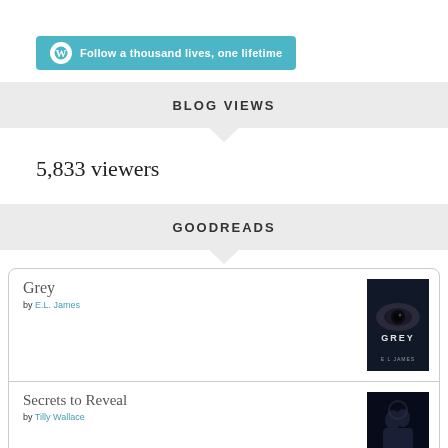[Figure (logo): WordPress banner with logo and text: Follow a thousand lives, one lifetime]
BLOG VIEWS
5,833 viewers
GOODREADS
[Figure (other): Goodreads book list card showing two books: Grey by E.L. James and Secrets to Reveal by Tilly Wallace, each with cover images]